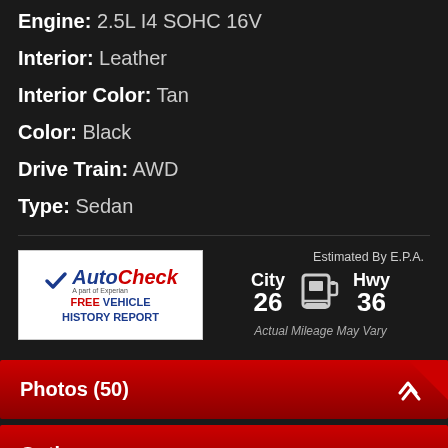Engine: 2.5L I4 SOHC 16V
Interior: Leather
Interior Color: Tan
Color: Black
Drive Train: AWD
Type: Sedan
[Figure (logo): AutoCheck - A part of Experian. FREE VEHICLE HISTORY REPORT]
Estimated By E.P.A. City 26 Hwy 36 Actual Mileage May Vary
Photos (50)
Options